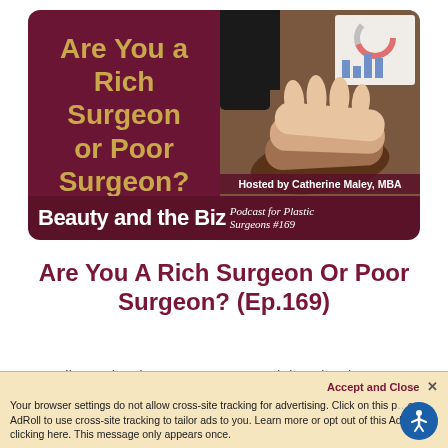[Figure (illustration): Podcast cover image for 'Beauty and the Biz' hosted by Catherine Maley MBA. Left half has dark maroon background with gold bold text 'Are You a Rich Surgeon or Poor Surgeon?'. Right half shows hands stacked together over a desk with charts. Bottom bar shows 'Beauty and the Biz' title and 'Podcast for Plastic Surgeons #169'.]
Are You A Rich Surgeon Or Poor Surgeon? (Ep.169)
Hello, and welcome to Beauty and the Biz where we talk about the business and
Your browser settings do not allow cross-site tracking for advertising. Click on this page to allow AdRoll to use cross-site tracking to tailor ads to you. Learn more or opt out of this AdRoll tracking by clicking here. This message only appears once.